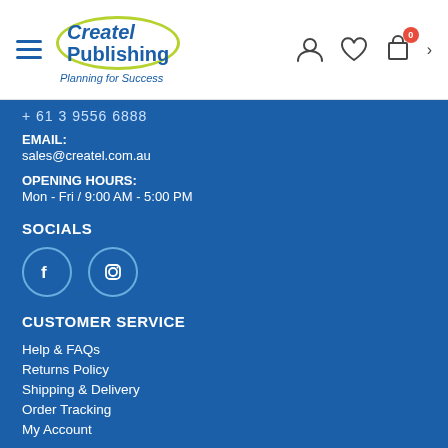Createl Publishing — Planning for Success — Navigation bar with hamburger menu, user icon, wishlist, cart (0), chevron
+ 61 3 9556 6888
EMAIL:
sales@createl.com.au
OPENING HOURS:
Mon - Fri / 9:00 AM - 5:00 PM
SOCIALS
[Figure (illustration): Facebook and Instagram circular icon buttons]
CUSTOMER SERVICE
Help & FAQs
Returns Policy
Shipping & Delivery
Order Tracking
My Account